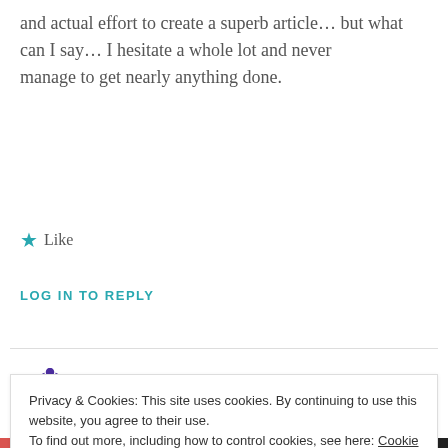and actual effort to create a superb article… but what can I say… I hesitate a whole lot and never manage to get nearly anything done.
★ Like
LOG IN TO REPLY
[Figure (illustration): Purple hexagonal badge icon with white diamond/quilt pattern, representing the author avatar for 'Real Friends and Family']
Real Friends and Family
Privacy & Cookies: This site uses cookies. By continuing to use this website, you agree to their use. To find out more, including how to control cookies, see here: Cookie Policy
Close and accept